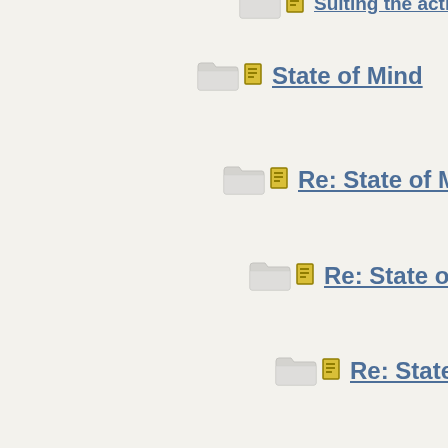State of Mind
Re: State of Mind
Re: State of Crim...
Re: State of Cr...
Re: State of Crime
Revealing your unaware
Re: Revealing your unaware
Re: Revealing your unaware
Re: Revealing your unaware
Re: Revealing your unaware